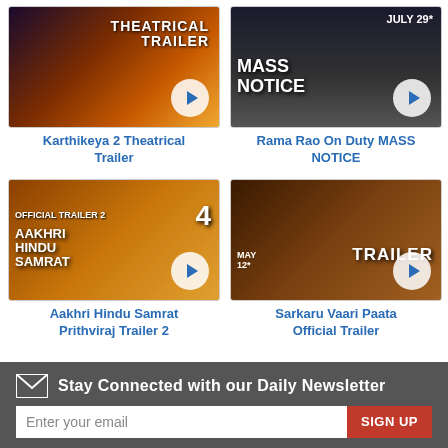[Figure (screenshot): Karthikeya 2 Theatrical Trailer thumbnail with play button]
Karthikeya 2 Theatrical Trailer
[Figure (screenshot): Rama Rao On Duty MASS NOTICE trailer thumbnail with play button, July 29]
Rama Rao On Duty MASS NOTICE
[Figure (screenshot): Aakhri Hindu Samrat Prithviraj Trailer 2 thumbnail with play button]
Aakhri Hindu Samrat Prithviraj Trailer 2
[Figure (screenshot): Sarkaru Vaari Paata Official Trailer thumbnail with play button]
Sarkaru Vaari Paata Official Trailer
Stay Connected with our Daily Newsletter
Enter your email
SIGN UP